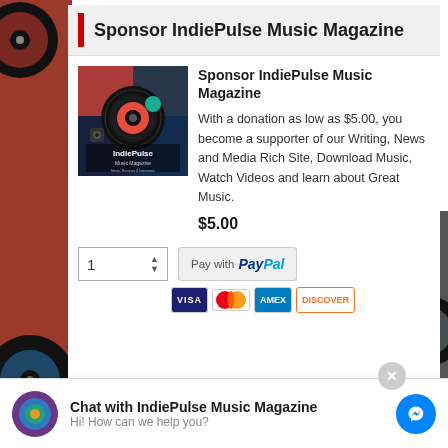Sponsor IndiePulse Music Magazine
[Figure (illustration): IndiePulse Music Magazine podcast cover art showing vinyl records, a turntable, and the IndiePulse logo with text 'Music Magazine News, Reviews & Interviews Podcast Series']
Sponsor IndiePulse Music Magazine
With a donation as low as $5.00, you become a supporter of our Writing, News and Media Rich Site, Download Music, Watch Videos and learn about Great Music.
$5.00
Chat with IndiePulse Music Magazine
Hi! How can we help you?